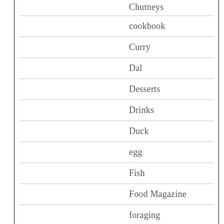Chutneys
cookbook
Curry
Dal
Desserts
Drinks
Duck
egg
Fish
Food Magazine
foraging